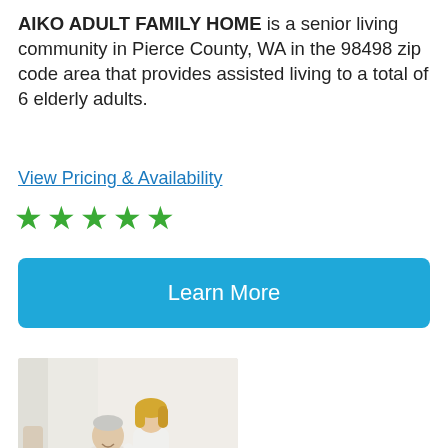AIKO ADULT FAMILY HOME is a senior living community in Pierce County, WA in the 98498 zip code area that provides assisted living to a total of 6 elderly adults.
View Pricing & Availability
[Figure (other): Five green star rating icons]
Learn More
[Figure (photo): Photo of a caregiver helping an elderly man who is seated, with a walker visible nearby, in a bright indoor setting.]